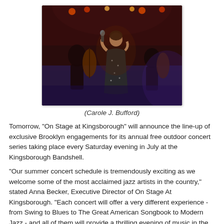[Figure (photo): A female jazz singer performing on stage with a microphone, wearing a sparkly dark dress, with musicians playing upright bass and other instruments visible in the background under red and blue stage lighting.]
(Carole J. Bufford)
Tomorrow, "On Stage at Kingsborough" will announce the line-up of exclusive Brooklyn engagements for its annual free outdoor concert series taking place every Saturday evening in July at the Kingsborough Bandshell.
"Our summer concert schedule is tremendously exciting as we welcome some of the most acclaimed jazz artists in the country," stated Anna Becker, Executive Director of On Stage At Kingsborough. "Each concert will offer a very different experience - from Swing to Blues to The Great American Songbook to Modern Jazz - and all of them will provide a thrilling evening of music in the shadow of Kingsborough's lighthouse by the sea."